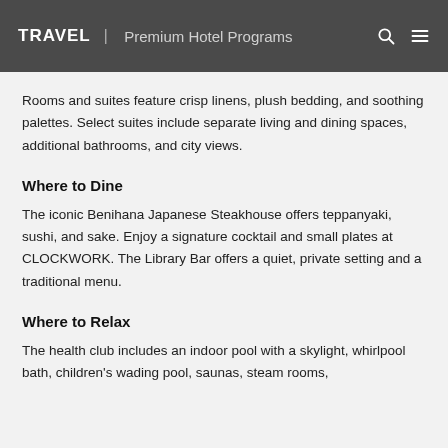TRAVEL | Premium Hotel Programs
Rooms and suites feature crisp linens, plush bedding, and soothing palettes. Select suites include separate living and dining spaces, additional bathrooms, and city views.
Where to Dine
The iconic Benihana Japanese Steakhouse offers teppanyaki, sushi, and sake. Enjoy a signature cocktail and small plates at CLOCKWORK. The Library Bar offers a quiet, private setting and a traditional menu.
Where to Relax
The health club includes an indoor pool with a skylight, whirlpool bath, children's wading pool, saunas, steam rooms, and fitness center.